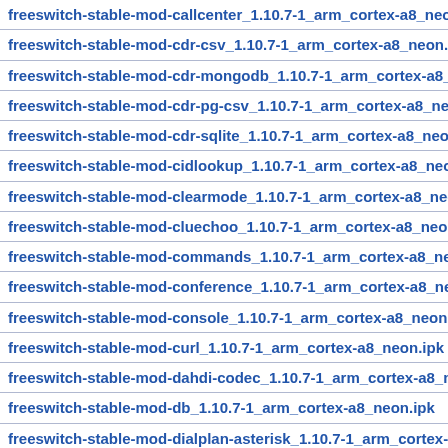freeswitch-stable-mod-callcenter_1.10.7-1_arm_cortex-a8_neon.ipk
freeswitch-stable-mod-cdr-csv_1.10.7-1_arm_cortex-a8_neon.ipk
freeswitch-stable-mod-cdr-mongodb_1.10.7-1_arm_cortex-a8_neon.ipk
freeswitch-stable-mod-cdr-pg-csv_1.10.7-1_arm_cortex-a8_neon.ipk
freeswitch-stable-mod-cdr-sqlite_1.10.7-1_arm_cortex-a8_neon.ipk
freeswitch-stable-mod-cidlookup_1.10.7-1_arm_cortex-a8_neon.ipk
freeswitch-stable-mod-clearmode_1.10.7-1_arm_cortex-a8_neon.ipk
freeswitch-stable-mod-cluechoo_1.10.7-1_arm_cortex-a8_neon.ipk
freeswitch-stable-mod-commands_1.10.7-1_arm_cortex-a8_neon.ipk
freeswitch-stable-mod-conference_1.10.7-1_arm_cortex-a8_neon.ipk
freeswitch-stable-mod-console_1.10.7-1_arm_cortex-a8_neon.ipk
freeswitch-stable-mod-curl_1.10.7-1_arm_cortex-a8_neon.ipk
freeswitch-stable-mod-dahdi-codec_1.10.7-1_arm_cortex-a8_neon.ipk
freeswitch-stable-mod-db_1.10.7-1_arm_cortex-a8_neon.ipk
freeswitch-stable-mod-dialplan-asterisk_1.10.7-1_arm_cortex-a8_neon.ipk
freeswitch-stable-mod-dialplan-directory_1.10.7-1_arm_cortex-a8_neon.ipk
freeswitch-stable-mod-dialplan-xml_1.10.7-1_arm_cortex-a8_neon.ipk
freeswitch-stable-mod-dingaling_1.10.7-1_arm_cortex-a8_neon.ipk
freeswitch-stable-mod-directory_1.10.7-1_arm_cortex-a8_neon.ipk
freeswitch-stable-mod-distributor_1.10.7-1_arm_cortex-a8_neon.ipk
freeswitch-stable-mod-dptools_1.10.7-1_arm_cortex-a8_neon.ipk